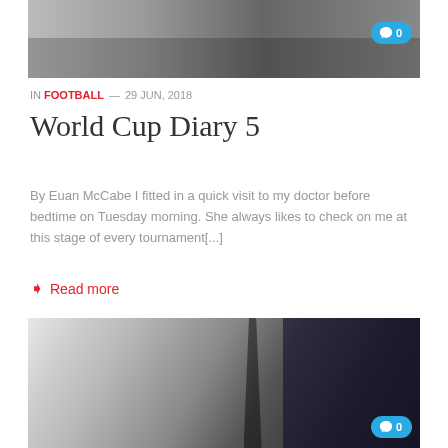[Figure (photo): Black and white photo of sports crowd/event scene at top of page with comment bubble showing 0]
IN FOOTBALL — 29 JUN, 2018
World Cup Diary 5
By Euan McCabe I fitted in a quick visit to my doctor before bedtime on Tuesday morning. She always likes to check on me at this stage of every tournament[...]
Read more
[Figure (photo): Color photo of a man and child relaxing in a room with a football player poster/mural on the wall in background, with a lamp visible. Comment bubble showing 0 in bottom right.]